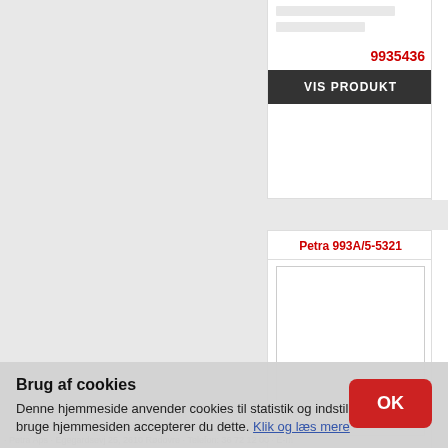9935436
VIS PRODUKT
Petra 993A/5-5321
9935321
VIS PRODUKT
Brug af cookies
Denne hjemmeside anvender cookies til statistik og indstillinger. Ved at bruge hjemmesiden accepterer du dette. Klik og læs mere